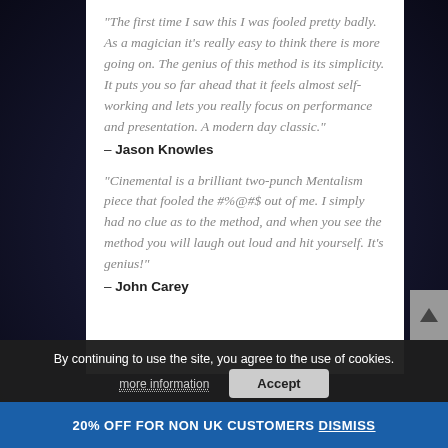“The first time I saw this I was fooled pretty badly. As a magician it’s really easy to think there is more going on. The genius of this method is its simplicity. It puts you so far ahead that it feels almost self-working and lets you really focus on performance and presentation. A modern day classic.”
– Jason Knowles
“Cinemental is a brilliant two-punch Mentalism piece that fooled the #%@#$ out of me. I simply had no clue as to the method, and when you see the method you will laugh out loud and hit yourself. It’s genius!”
– John Carey
By continuing to use the site, you agree to the use of cookies.
more information
Accept
20% OFF FOR NON UK CUSTOMERS Dismiss